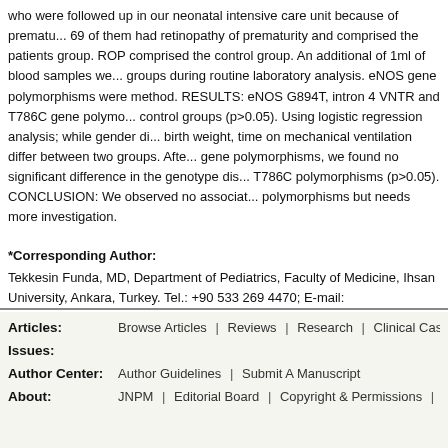who were followed up in our neonatal intensive care unit because of prematu... 69 of them had retinopathy of prematurity and comprised the patients group. ROP comprised the control group. An additional of 1ml of blood samples we... groups during routine laboratory analysis. eNOS gene polymorphisms were ... method. RESULTS: eNOS G894T, intron 4 VNTR and T786C gene polymo... control groups (p>0.05). Using logistic regression analysis; while gender di... birth weight, time on mechanical ventilation differ between two groups. Afte... gene polymorphisms, we found no significant difference in the genotype dis... T786C polymorphisms (p>0.05). CONCLUSION: We observed no associat... polymorphisms but needs more investigation.
*Corresponding Author: Tekkesin Funda, MD, Department of Pediatrics, Faculty of Medicine, Ihsan University, Ankara, Turkey. Tel.: +90 533 269 4470; E-mail: tekkesinfunda@...
Keywords: Endothelial nitric oxide synthase, polymorphism, Retinopathy o...
Articles: Browse Articles | Reviews | Research | Clinical Cases | Comm... Issues: Author Center: Author Guidelines | Submit A Manuscript About: JNPM | Editorial Board | Copyright & Permissions | Advertising...